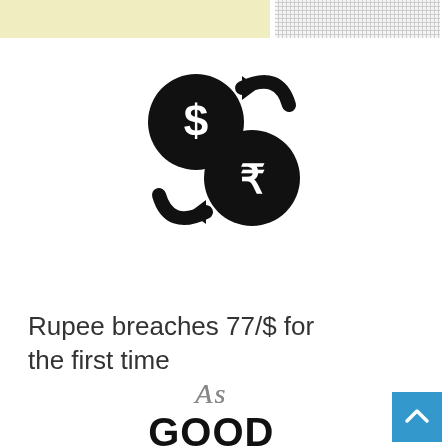[Figure (illustration): Currency exchange icon showing a dollar coin and a rupee coin with circular arrows indicating exchange/conversion between USD and INR]
Rupee breaches 77/$ for the first time
As GOOD